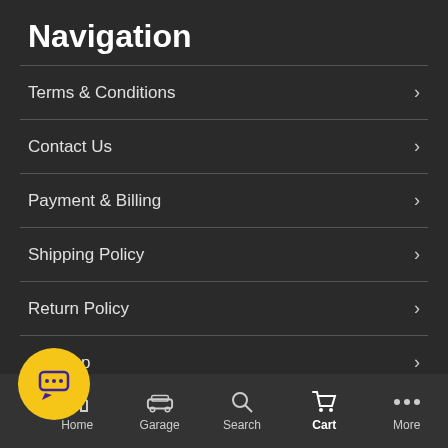Navigation
Terms & Conditions
Contact Us
Payment & Billing
Shipping Policy
Return Policy
Sitemap
Contact
SubaruOnlineParts.com
Home | Garage | Search | Cart | More